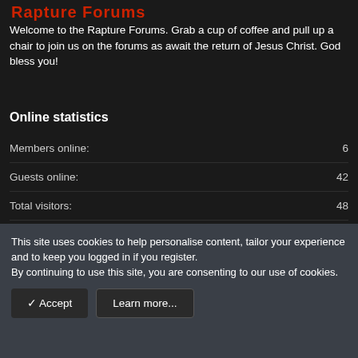Rapture Forums
Welcome to the Rapture Forums. Grab a cup of coffee and pull up a chair to join us on the forums as await the return of Jesus Christ. God bless you!
Online statistics
|  |  |
| --- | --- |
| Members online: | 6 |
| Guests online: | 42 |
| Total visitors: | 48 |
Totals may include hidden visitors.
This site uses cookies to help personalise content, tailor your experience and to keep you logged in if you register.
By continuing to use this site, you are consenting to our use of cookies.